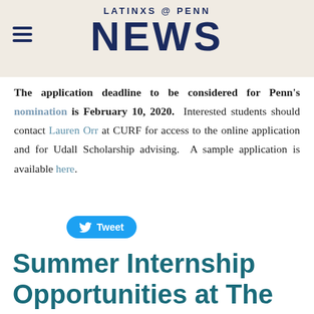LATINXS @ PENN NEWS
The application deadline to be considered for Penn's nomination is February 10, 2020. Interested students should contact Lauren Orr at CURF for access to the online application and for Udall Scholarship advising. A sample application is available here.
[Figure (other): Tweet button with Twitter bird icon]
Summer Internship Opportunities at The Children's Hospital of